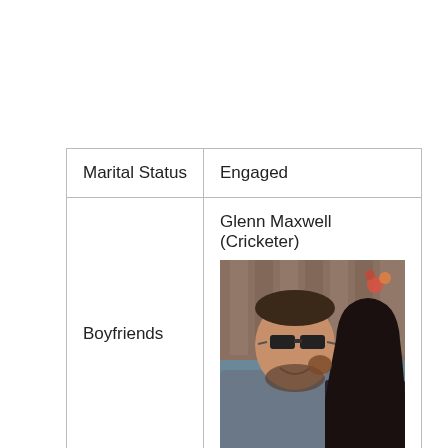| Marital Status | Engaged |
| Boyfriends | Glenn Maxwell (Cricketer)
[photo of couple] |
| Engagement Date | 26 February 2020 |